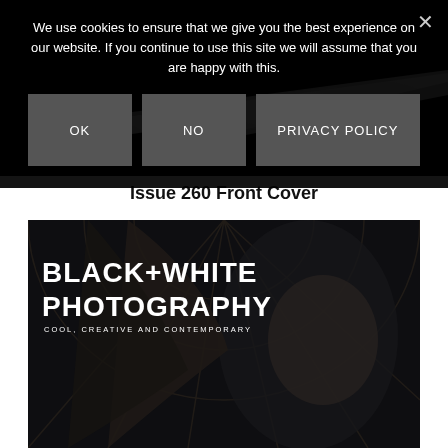[Figure (photo): Dark background with a diagonal streak of bright white/silver glittery light across the frame, resembling a knife blade or light trail. A small signature or watermark is visible on the left side.]
Issue 260 Front Cover
[Figure (photo): Black+White Photography magazine front cover showing a woman with long dark hair blowing in the wind, photographed in black and white. The magazine logo reads 'BLACK+WHITE PHOTOGRAPHY' with tagline 'COOL, CREATIVE AND CONTEMPORARY'.]
We use cookies to ensure that we give you the best experience on our website. If you continue to use this site we will assume that you are happy with this.